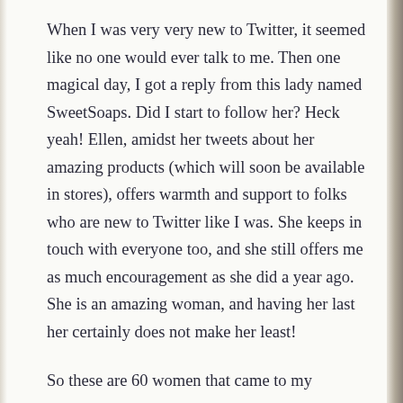When I was very very new to Twitter, it seemed like no one would ever talk to me. Then one magical day, I got a reply from this lady named SweetSoaps. Did I start to follow her? Heck yeah! Ellen, amidst her tweets about her amazing products (which will soon be available in stores), offers warmth and support to folks who are new to Twitter like I was. She keeps in touch with everyone too, and she still offers me as much encouragement as she did a year ago. She is an amazing woman, and having her last her certainly does not make her least!
So these are 60 women that came to my